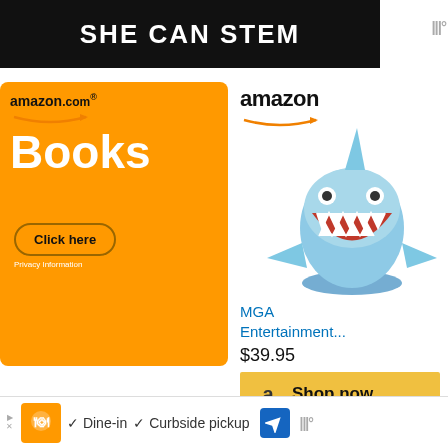[Figure (advertisement): SHE CAN STEM banner ad with white bold text on black background]
[Figure (advertisement): Amazon.com Books orange ad with Click here button and Privacy information link]
[Figure (advertisement): Amazon product ad showing MGA Entertainment shark toy figurine at $39.95 with Shop now button]
MGA Entertainment...
$39.95
Related Posts:
WHAT'S NEXT → September 2022 TV and...
[Figure (photo): Related post thumbnail 1 with orange background and TV icon]
[Figure (photo): Related post thumbnail 2 dark background with circular disc]
[Figure (advertisement): Bottom ad bar with restaurant logo, Dine-in and Curbside pickup options, navigation arrow icon]